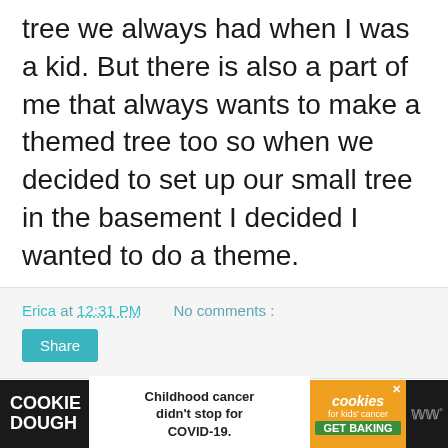tree we always had when I was a kid. But there is also a part of me that always wants to make a themed tree too so when we decided to set up our small tree in the basement I decided I wanted to do a theme.
Erica at 12:31 PM   No comments :
Share
Crocheted Cone Christmas Trees
-This post may contain affiliate links-
[Figure (photo): Partial photo of textured beige/tan surface, bottom of page]
COOKIE DOUGH   Childhood cancer didn't stop for COVID-19.   cookies for kids' cancer   GET BAKING